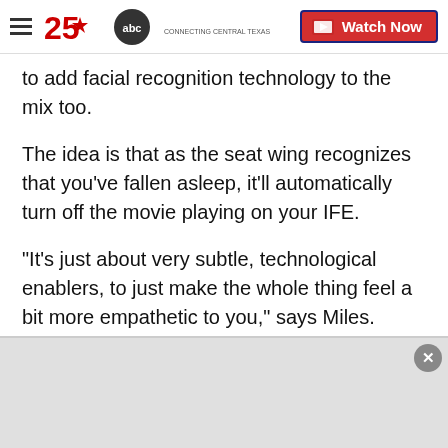25 ABC Connecting Central Texas | Watch Now
to add facial recognition technology to the mix too.
The idea is that as the seat wing recognizes that you've fallen asleep, it'll automatically turn off the movie playing on your IFE.
"It's just about very subtle, technological enablers, to just make the whole thing feel a bit more empathetic to you," says Miles.
Other innovative seat designs
Other airplane seat manufacturers have also been
[Figure (other): Advertisement banner overlay at bottom of page with close button]